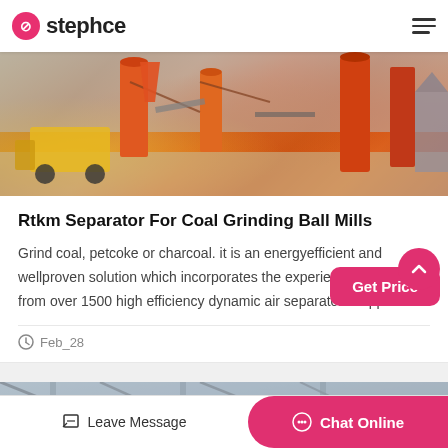stephce
[Figure (photo): Industrial construction site with yellow front-loader, orange silos, conveyor structures, and heavy machinery outdoors]
Rtkm Separator For Coal Grinding Ball Mills
Grind coal, petcoke or charcoal. it is an energyefficient and wellproven solution which incorporates the experience attained from over 1500 high efficiency dynamic air separators suppli…
Feb_28
[Figure (photo): Interior of industrial warehouse or factory with metal girders, orange hanging equipment visible]
Leave Message  Chat Online